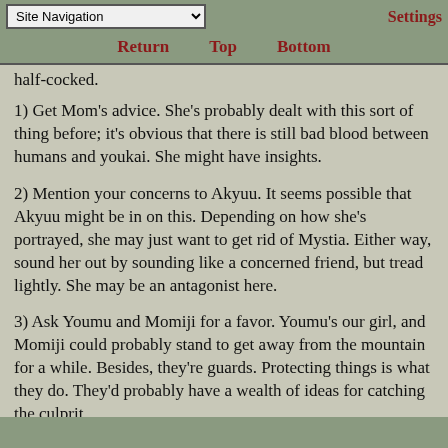Site Navigation | Settings | Return | Top | Bottom
half-cocked.
1) Get Mom's advice. She's probably dealt with this sort of thing before; it's obvious that there is still bad blood between humans and youkai. She might have insights.
2) Mention your concerns to Akyuu. It seems possible that Akyuu might be in on this. Depending on how she's portrayed, she may just want to get rid of Mystia. Either way, sound her out by sounding like a concerned friend, but tread lightly. She may be an antagonist here.
3) Ask Youmu and Momiji for a favor. Youmu's our girl, and Momiji could probably stand to get away from the mountain for a while. Besides, they're guards. Protecting things is what they do. They'd probably have a wealth of ideas for catching the culprit.